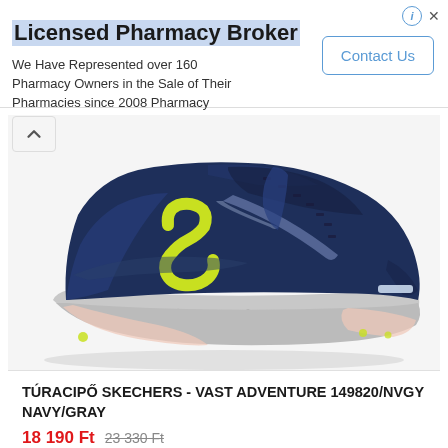[Figure (infographic): Licensed Pharmacy Broker advertisement banner with title, body text, and Contact Us button]
[Figure (photo): Skechers Vast Adventure 149820/NVGY Navy/Gray hiking shoe product photo on white background]
TÚRACIPŐ SKECHERS - VAST ADVENTURE 149820/NVGY NAVY/GRAY
18 190 Ft 23 330 Ft
Akciós. Túracipő SKECHERS